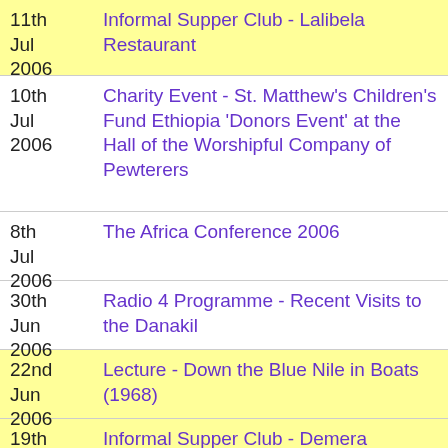11th Jul 2006 | Informal Supper Club - Lalibela Restaurant
10th Jul 2006 | Charity Event - St. Matthew's Children's Fund Ethiopia 'Donors Event' at the Hall of the Worshipful Company of Pewterers
8th Jul 2006 | The Africa Conference 2006
30th Jun 2006 | Radio 4 Programme - Recent Visits to the Danakil
22nd Jun 2006 | Lecture - Down the Blue Nile in Boats (1968)
19th Jun 2006 | Informal Supper Club - Demera Restaurant - NOW MOVED